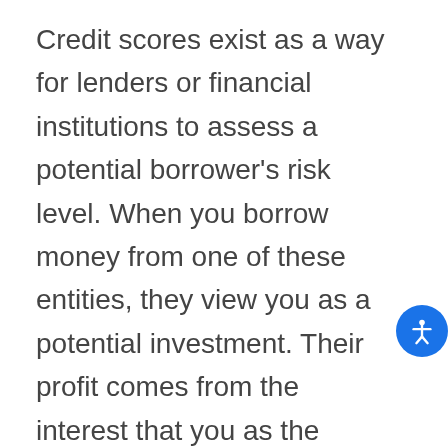Credit scores exist as a way for lenders or financial institutions to assess a potential borrower's risk level. When you borrow money from one of these entities, they view you as a potential investment. Their profit comes from the interest that you as the borrower will pay them over the course of your mortgage loan. If you do not repay your monthly payments on time or at all, the lender is thus losing money. In order to avoid the risk of losing their profit as much as possible, the financial community developed a system to calculate whether or not you are going to be a sound investment—aka credit scores.